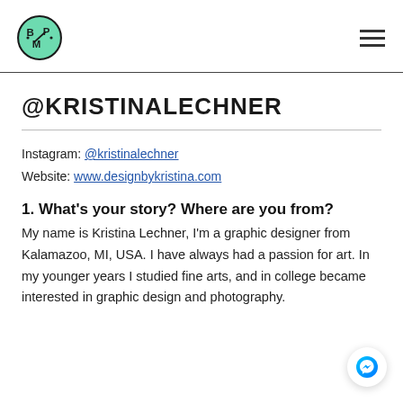BPM logo and hamburger menu
@KRISTINALECHNER
Instagram: @kristinalechner
Website: www.designbykristina.com
1. What's your story? Where are you from?
My name is Kristina Lechner, I'm a graphic designer from Kalamazoo, MI, USA. I have always had a passion for art. In my younger years I studied fine arts, and in college became interested in graphic design and photography.